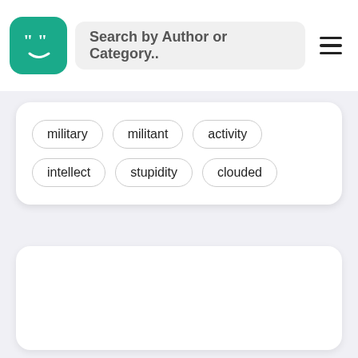[Figure (screenshot): App header with teal logo icon showing quotation mark face, search bar with text 'Search by Author or Category..', and hamburger menu icon]
military   militant   activity   intellect   stupidity   clouded
[Figure (other): Empty white card section below the tags]